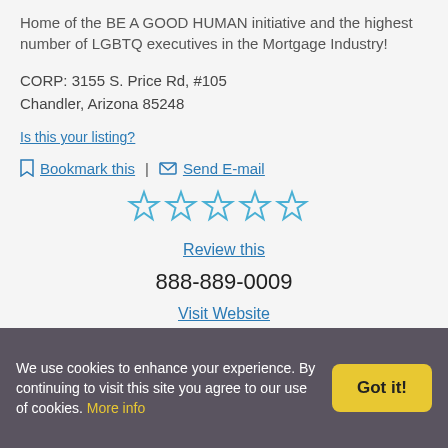Home of the BE A GOOD HUMAN initiative and the highest number of LGBTQ executives in the Mortgage Industry!
CORP: 3155 S. Price Rd, #105
Chandler, Arizona 85248
Is this your listing?
Bookmark this | Send E-mail
[Figure (other): Five empty star rating icons in a row]
Review this
888-889-0009
Visit Website
[Figure (other): Social media icons: Facebook, Twitter, Google]
We use cookies to enhance your experience. By continuing to visit this site you agree to our use of cookies. More info